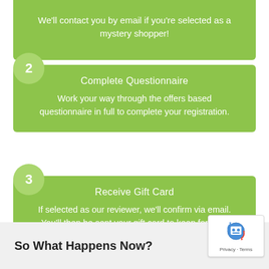We'll contact you by email if you're selected as a mystery shopper!
2 – Complete Questionnaire: Work your way through the offers based questionnaire in full to complete your registration.
3 – Receive Gift Card: If selected as our reviewer, we'll confirm via email. You'll then be sent your gift card to keep for free!
So What Happens Now?
[Figure (logo): reCAPTCHA badge with robot icon and Privacy – Terms text]